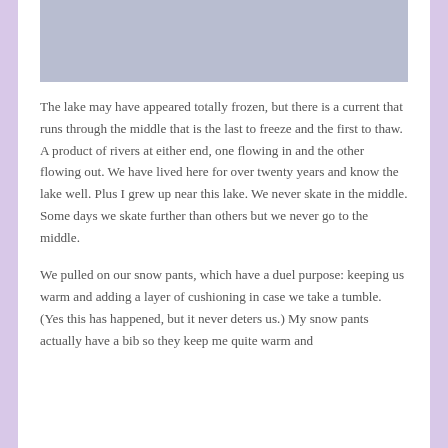[Figure (photo): A gray-toned photograph, partially cropped, showing a pale gray surface — likely a frozen lake.]
The lake may have appeared totally frozen, but there is a current that runs through the middle that is the last to freeze and the first to thaw. A product of rivers at either end, one flowing in and the other flowing out. We have lived here for over twenty years and know the lake well. Plus I grew up near this lake. We never skate in the middle. Some days we skate further than others but we never go to the middle.
We pulled on our snow pants, which have a duel purpose: keeping us warm and adding a layer of cushioning in case we take a tumble. (Yes this has happened, but it never deters us.) My snow pants actually have a bib so they keep me quite warm and